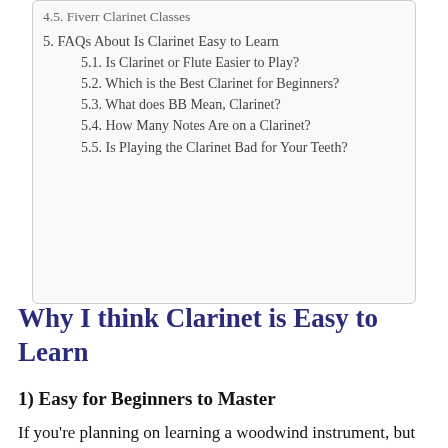4.5. Fiverr Clarinet Classes
5. FAQs About Is Clarinet Easy to Learn
5.1. Is Clarinet or Flute Easier to Play?
5.2. Which is the Best Clarinet for Beginners?
5.3. What does BB Mean, Clarinet?
5.4. How Many Notes Are on a Clarinet?
5.5. Is Playing the Clarinet Bad for Your Teeth?
Why I think Clarinet is Easy to Learn
1) Easy for Beginners to Master
If you’re planning on learning a woodwind instrument, but don’t know where to begin, I